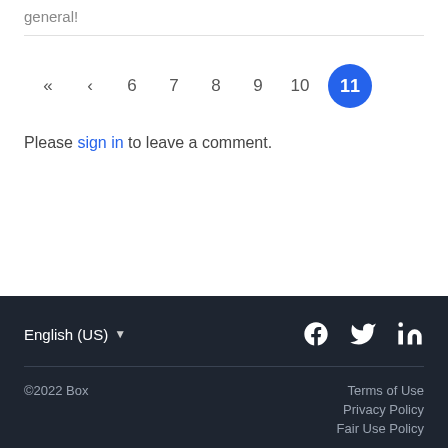general!
« ‹ 6 7 8 9 10 11
Please sign in to leave a comment.
English (US)  ©2022 Box  Terms of Use  Privacy Policy  Fair Use Policy